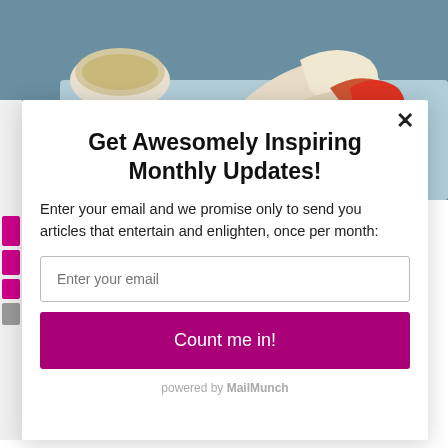[Figure (photo): Photo of crab claws and seafood on ice with a dipping sauce in a white bowl, viewed from above.]
Get Awesomely Inspiring Monthly Updates!
Enter your email and we promise only to send you articles that entertain and enlighten, once per month:
Enter your email
Count me in!
powered by MailMunch